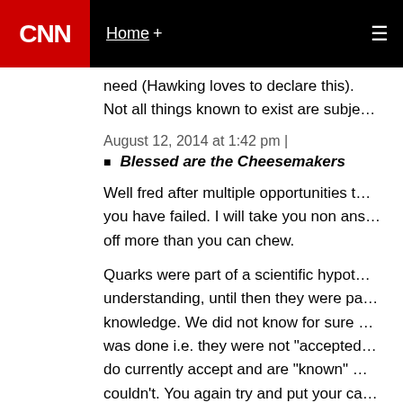CNN  Home +
need (Hawking loves to declare this). Not all things known to exist are subje…
August 12, 2014 at 1:42 pm |
Blessed are the Cheesemakers
Well fred after multiple opportunities t… you have failed. I will take you non ans… off more than you can chew.

Quarks were part of a scientific hypot… understanding, until then they were pa… knowledge. We did not know for sure … was done i.e. they were not "accepted… do currently accept and are "known" … couldn't. You again try and put your ca…
August 12, 2014 at 11:03 pm |
believerfred